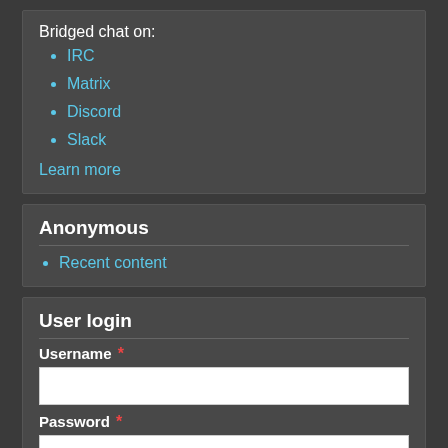Bridged chat on:
IRC
Matrix
Discord
Slack
Learn more
Anonymous
Recent content
User login
Username *
Password *
Create new account
Request new password